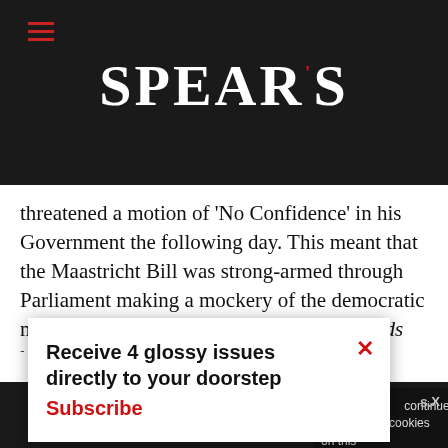SPEAR'S
threatened a motion of 'No Confidence' in his Government the following day. This meant that the Maastricht Bill was strong-armed through Parliament making a mockery of the democratic mandate. The spectacle made House of Cards look like a game of Animal Snap.
After that very ill-tempered and bitter night in the Commons, John Major had walked up to my father and [...]h my father [...]ust begun.'
Receive 4 glossy issues directly to your doorstep
Subscribe
continue using our all cookies on this
Continue   Learn more